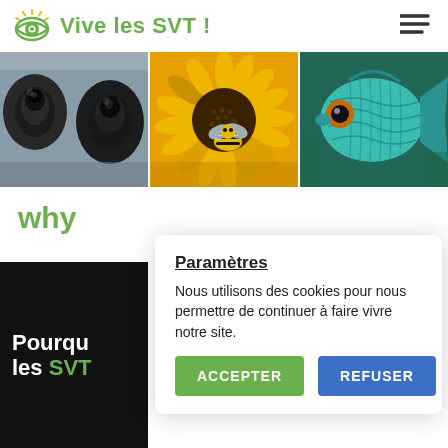Vive les SVT!
[Figure (photo): Three-panel banner: left panel shows microscope lenses in black and white, center panel shows a bee on a yellow sunflower, right panel shows a blue-green tropical fish]
why
[Figure (photo): Black card with white and green text reading 'Pourquoi les SVT']
Paramètres
Nous utilisons des cookies pour nous permettre de continuer à faire vivre notre site.
ACCEPTER   REFUSER